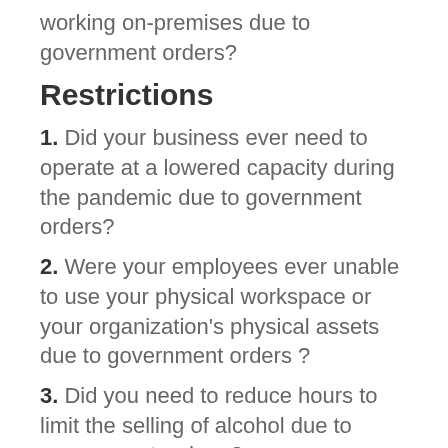working on-premises due to government orders?
Restrictions
1. Did your business ever need to operate at a lowered capacity during the pandemic due to government orders?
2. Were your employees ever unable to use your physical workspace or your organization's physical assets due to government orders ?
3. Did you need to reduce hours to limit the selling of alcohol due to government orders ?